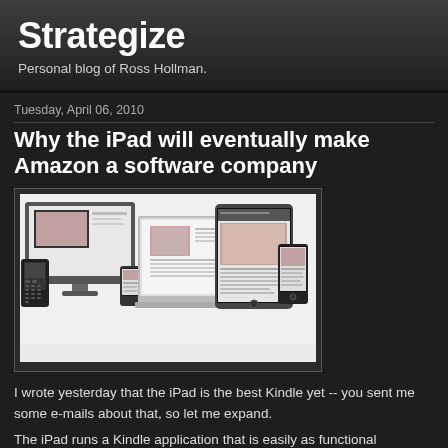Strategize
Personal blog of Ross Hollman.
Tuesday, April 06, 2010
Why the iPad will eventually make Amazon a software company
[Figure (photo): Multiple devices (BlackBerry phone, monitor, tablet, iPad, smartphone) all displaying the same Kindle reading app with a food/cupcake image]
I wrote yesterday that the iPad is the best Kindle yet -- you sent me some e-mails about that, so let me expand.
The iPad runs a Kindle application that is easily as functional